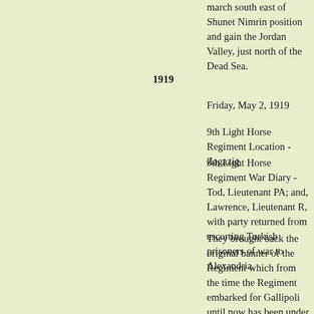march south east of Shunet Nimrin position and gain the Jordan Valley, just north of the Dead Sea.
1919
Friday, May 2, 1919
9th Light Horse Regiment Location - Zagazig
9th Light Horse Regiment War Diary - Tod, Lieutenant PA; and, Lawrence, Lieutenant R, with party returned from escorting Turkish prisoners of war to Alexandria.
They brought back the original banner of the Regiment which from the time the Regiment embarked for Gallipoli until now has been under the care of Mrs Cornish. [Waterworks Alexandria]